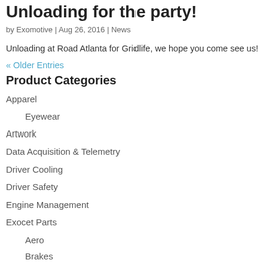Unloading for the party!
by Exomotive | Aug 26, 2016 | News
Unloading at Road Atlanta for Gridlife, we hope you come see us!
« Older Entries
Product Categories
Apparel
Eyewear
Artwork
Data Acquisition & Telemetry
Driver Cooling
Driver Safety
Engine Management
Exocet Parts
Aero
Brakes